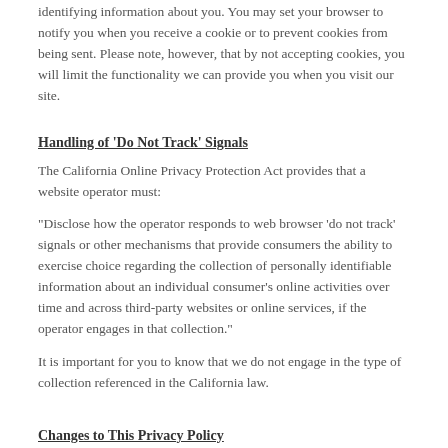identifying information about you. You may set your browser to notify you when you receive a cookie or to prevent cookies from being sent. Please note, however, that by not accepting cookies, you will limit the functionality we can provide you when you visit our site.
Handling of ‘Do Not Track’ Signals
The California Online Privacy Protection Act provides that a website operator must:
“Disclose how the operator responds to web browser ‘do not track’ signals or other mechanisms that provide consumers the ability to exercise choice regarding the collection of personally identifiable information about an individual consumer’s online activities over time and across third-party websites or online services, if the operator engages in that collection.”
It is important for you to know that we do not engage in the type of collection referenced in the California law.
Changes to This Privacy Policy